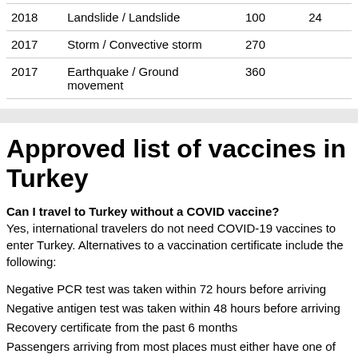| 2018 | Landslide / Landslide | 100 | 24 |
| 2017 | Storm / Convective storm | 270 |  |
| 2017 | Earthquake / Ground movement | 360 |  |
Approved list of vaccines in Turkey
Can I travel to Turkey without a COVID vaccine?
Yes, international travelers do not need COVID-19 vaccines to enter Turkey. Alternatives to a vaccination certificate include the following:
Negative PCR test was taken within 72 hours before arriving
Negative antigen test was taken within 48 hours before arriving
Recovery certificate from the past 6 months
Passengers arriving from most places must either have one of